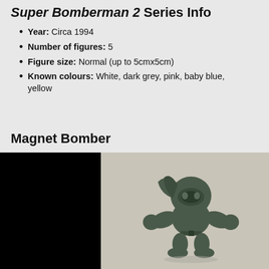Super Bomberman 2 Series Info
Year: Circa 1994
Number of figures: 5
Figure size: Normal (up to 5cmx5cm)
Known colours: White, dark grey, pink, baby blue, yellow
Magnet Bomber
[Figure (photo): A dark grey Magnet Bomber figure (Super Bomberman 2 toy), shown against a light beige background, posed with arms outstretched and a cape behind the head. Left portion of image is black.]